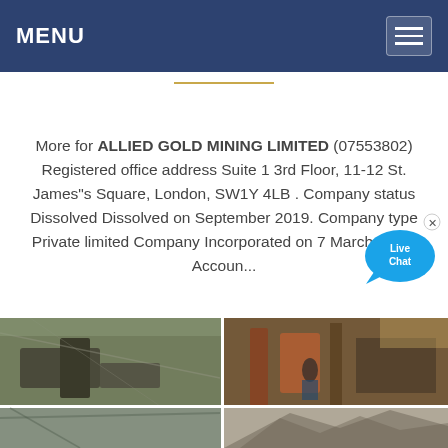MENU
More for ALLIED GOLD MINING LIMITED (07553802) Registered office address Suite 1 3rd Floor, 11-12 St. James"s Square, London, SW1Y 4LB . Company status Dissolved Dissolved on September 2019. Company type Private limited Company Incorporated on 7 March 2011. Accoun...
[Figure (photo): Four mining site photos showing industrial mining equipment, machinery, an outdoor mining operation, and rocky terrain. Two photos in top row and two partial photos in bottom row.]